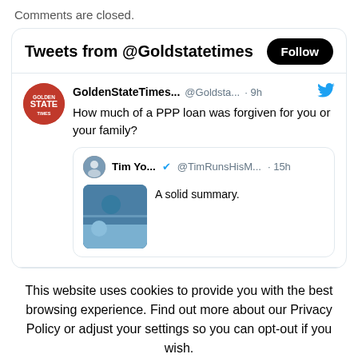Comments are closed.
[Figure (screenshot): Twitter widget showing tweets from @Goldstatetimes with a Follow button. Contains a tweet from GoldenStateTimes... (@Goldsta...) posted 9h ago asking 'How much of a PPP loan was forgiven for you or your family?' with a quoted tweet from Tim Yo... (@TimRunsHisM...) posted 15h ago saying 'A solid summary.' with a thumbnail image.]
This website uses cookies to provide you with the best browsing experience. Find out more about our Privacy Policy or adjust your settings so you can opt-out if you wish.
Cookie settings   ACCEPT   Read our Privacy P   ∧